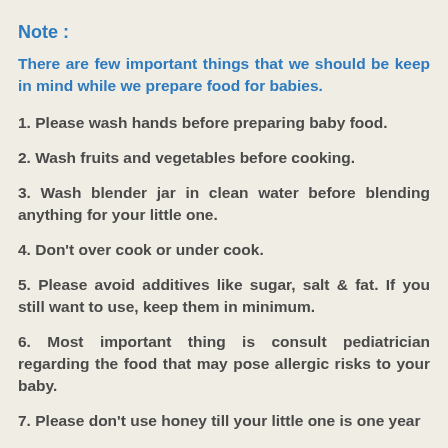Note :
There are few important things that we should be keep in mind while we prepare food for babies.
1. Please wash hands before preparing baby food.
2. Wash fruits and vegetables before cooking.
3. Wash blender jar in clean water before blending anything for your little one.
4. Don't over cook or under cook.
5. Please avoid additives like sugar, salt & fat. If you still want to use, keep them in minimum.
6. Most important thing is consult pediatrician regarding the food that may pose allergic risks to your baby.
7. Please don't use honey till your little one is one year